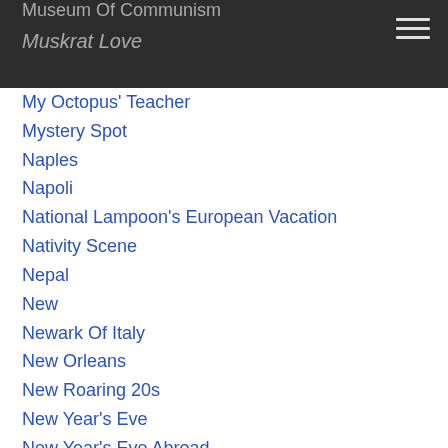Museum Of Communism
Muskrat Love
My Octopus' Teacher
Mystery Spot
Naples
Napoli
National Lampoon's European Vacation
Nativity Scene
Nepal
New
Newark Of Italy
New Orleans
New Roaring 20s
New Year's Eve
New Year's Eve Abroad
New Year's In Seville
New York Times
No Cancelling The Holidays
No-Jet-Lag